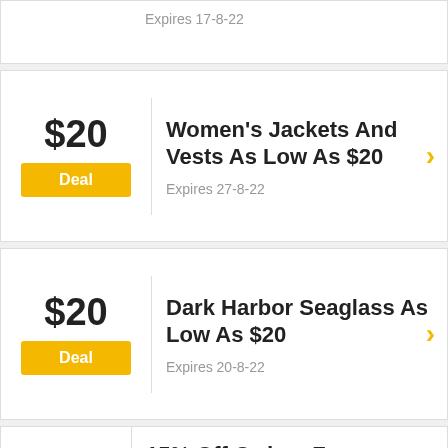Expires 17-8-22
$20
Deal
Women's Jackets And Vests As Low As $20
Expires 27-8-22
$20
Deal
Dark Harbor Seaglass As Low As $20
Expires 20-8-22
15%
15% Off Orders For Students & Military